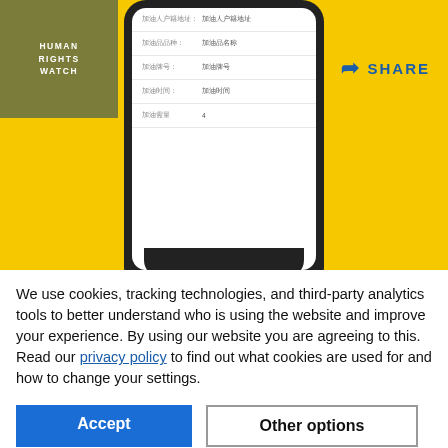[Figure (screenshot): Human Rights Watch website header on yellow background with HRW logo, blue square, ASIA text, SHARE button, and a smartphone mockup showing a Chinese-language form on screen. Partial phone bottom visible at lower edge of yellow area.]
We use cookies, tracking technologies, and third-party analytics tools to better understand who is using the website and improve your experience. By using our website you are agreeing to this. Read our privacy policy to find out what cookies are used for and how to change your settings.
Accept
Other options